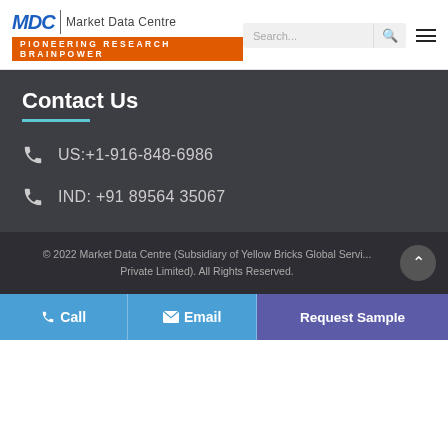[Figure (logo): MDC Market Data Centre logo with tagline 'Pioneering Research Brainpower' on orange background]
Contact Us
US:+1-916-848-6986
IND: +91 89564 35067
© 2022 Market Data Centre (Subsidiary of Yellow Bricks Global Servi... Private Limited). All Rights Reserved.
Call
Email
Request Sample